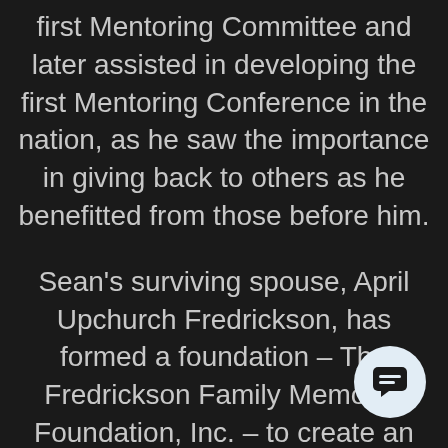first Mentoring Committee and later assisted in developing the first Mentoring Conference in the nation, as he saw the importance in giving back to others as he benefitted from those before him.

Sean's surviving spouse, April Upchurch Fredrickson, has formed a foundation – The Fredrickson Family Memorial Foundation, Inc. – to create an avenue for the PGA to assist efforts to perpetuate Sean's vision. As